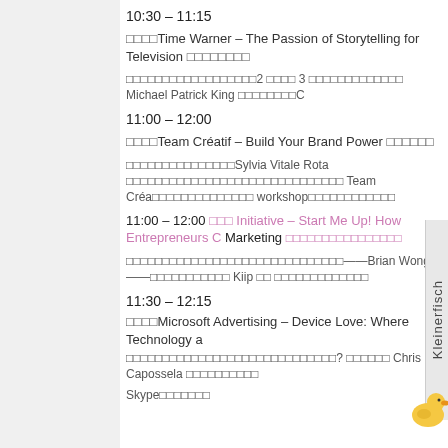10:30 – 11:15
□□□□Time Warner – The Passion of Storytelling for Television □□□□□□□□
□□□□□□□□□□□□□□□□□□2 □□□□ 3 □□□□□□□□□□□□□ Michael Patrick King □□□□□□□□C
11:00 – 12:00
□□□□Team Créatif – Build Your Brand Power □□□□□□
□□□□□□□□□□□□□□□Sylvia Vitale Rota □□□□□□□□□□□□□□□□□□□□□□□□□□□□□□ Team Créa□□□□□□□□□□□□□□ workshop□□□□□□□□□□□□
11:00 – 12:00 □□□ Initiative – Start Me Up! How Entrepreneurs C Marketing □□□□□□□□□□□□□□□□
□□□□□□□□□□□□□□□□□□□□□□□□□□□□□□——Brian Wong——□□□□□□□□□□□ Kiip □□ □□□□□□□□□□□□□
11:30 – 12:15
□□□□Microsoft Advertising – Device Love: Where Technology a □□□□□□□□□□□□□□□□□□□□□□□□□□□□□? □□□□□□ Chris Capossela □□□□□□□□□□ Skype□□□□□□□